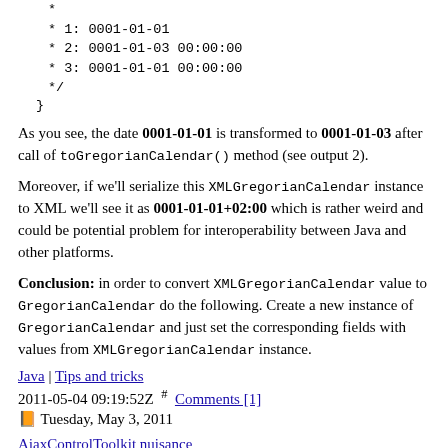* 
* 1: 0001-01-01
* 2: 0001-01-03 00:00:00
* 3: 0001-01-01 00:00:00
*/
}
As you see, the date 0001-01-01 is transformed to 0001-01-03 after call of toGregorianCalendar() method (see output 2).
Moreover, if we’ll serialize this XMLGregorianCalendar instance to XML we’ll see it as 0001-01-01+02:00 which is rather weird and could be potential problem for interoperability between Java and other platforms.
Conclusion: in order to convert XMLGregorianCalendar value to GregorianCalendar do the following. Create a new instance of GregorianCalendar and just set the corresponding fields with values from XMLGregorianCalendar instance.
Java | Tips and tricks
2011-05-04 09:19:52Z  #  Comments [1]
🗓 Tuesday, May 3, 2011
AjaxControlToolkit nuisance